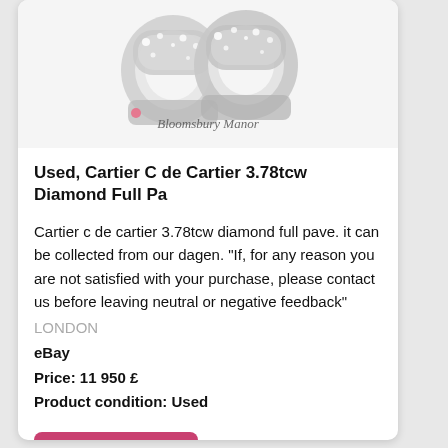[Figure (photo): Cartier diamond ring product photo with Bloomsbury Manor watermark/logo overlay]
Used, Cartier C de Cartier 3.78tcw Diamond Full Pa
Cartier c de cartier 3.78tcw diamond full pave. it can be collected from our dagen. "If, for any reason you are not satisfied with your purchase, please contact us before leaving neutral or negative feedback"
LONDON
eBay
Price: 11 950 £
Product condition: Used
See details